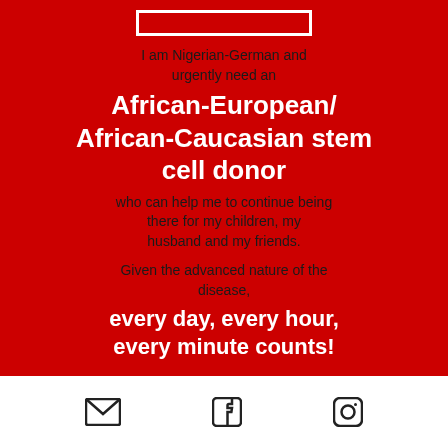I am Nigerian-German and urgently need an
African-European/ African-Caucasian stem cell donor
who can help me to continue being there for my children, my husband and my friends.
Given the advanced nature of the disease,
every day, every hour, every minute counts!
[Figure (infographic): Three social media icons: envelope/email, Facebook, and Instagram]